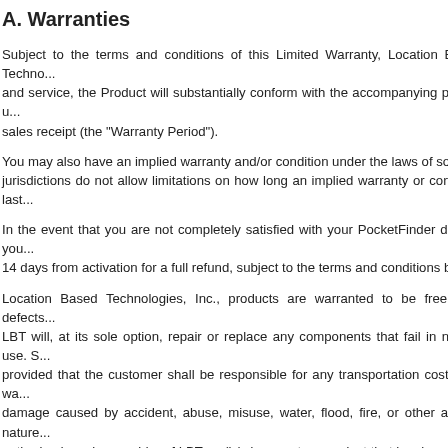A. Warranties
Subject to the terms and conditions of this Limited Warranty, Location Based Techno... and service, the Product will substantially conform with the accompanying printed u... sales receipt (the "Warranty Period").
You may also have an implied warranty and/or condition under the laws of some jurisdictions do not allow limitations on how long an implied warranty or condition last...
In the event that you are not completely satisfied with your PocketFinder device, you... 14 days from activation for a full refund, subject to the terms and conditions below.
Location Based Technologies, Inc., products are warranted to be free from defects... LBT will, at its sole option, repair or replace any components that fail in normal use. S... provided that the customer shall be responsible for any transportation cost. This wa... damage caused by accident, abuse, misuse, water, flood, fire, or other acts of nature... authorized service provider of LBT; or (iv) damage to a product that has been m... Technologies, Inc. reserves the right to refuse warranty claims against products c... Location Based Technologies, Inc. products are intended to be used as an asset,... precise measurement of direction, distance, location or topography. Location Based T...
You must return the device in its original packaging and with all materials and co... deactivate your service on the PocketFinder website. You will be required to include a...
For items returned within the return period, LBT will refund the purchase price less o...